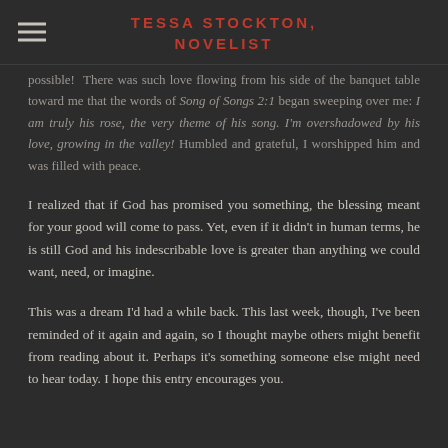TESSA STOCKTON, NOVELIST
possible! There was such love flowing from his side of the banquet table toward me that the words of Song of Songs 2:1 began sweeping over me: I am truly his rose, the very theme of his song. I'm overshadowed by his love, growing in the valley! Humbled and grateful, I worshipped him and was filled with peace.
I realized that if God has promised you something, the blessing meant for your good will come to pass. Yet, even if it didn't in human terms, he is still God and his indescribable love is greater than anything we could want, need, or imagine.
This was a dream I'd had a while back. This last week, though, I've been reminded of it again and again, so I thought maybe others might benefit from reading about it. Perhaps it's something someone else might need to hear today. I hope this entry encourages you.